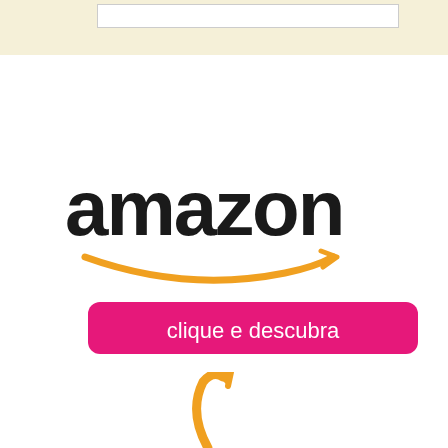[Figure (logo): Amazon logo with black text 'amazon' and orange arrow/smile beneath]
[Figure (other): Pink rounded button with white text 'clique e descubra']
[Figure (logo): Partial Amazon logo arrow/smile mark in orange at bottom of page]